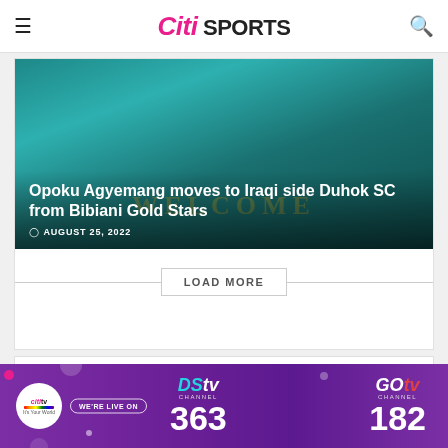Citi SPORTS
[Figure (photo): Sports article card with teal/dark background showing a welcome banner. White text headline 'Opoku Agyemang moves to Iraqi side Duhok SC from Bibiani Gold Stars' with date 'AUGUST 25, 2022'.]
Opoku Agyemang moves to Iraqi side Duhok SC from Bibiani Gold Stars
AUGUST 25, 2022
LOAD MORE
[Figure (infographic): Purple advertisement banner for Citi TV showing 'WE'RE LIVE ON DStv Channel 363 and GOtv Channel 182']